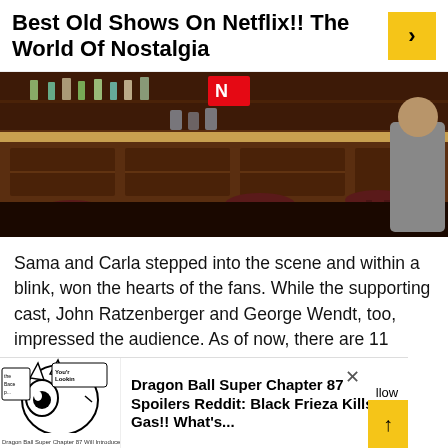Best Old Shows On Netflix!! The World Of Nostalgia
[Figure (photo): Bar scene from Cheers TV show showing a wooden bar counter with bar stools, liquor bottles on shelves, and a person partially visible on the right side. A red Netflix logo is visible near the top center.]
Sama and Carla stepped into the scene and within a blink, won the hearts of the fans. While the supporting cast, John Ratzenberger and George Wendt, too, impressed the audience. As of now, there are 11 seasons of “Cheers” available.
[Figure (illustration): Dragon Ball Super manga-style illustration showing a villain character with big eyes and spiky appearance. Text bubbles read 'You're Lookin At Him!' and partial text on bottom reads 'Dragon Ball Super Chapter 87 Will Introduce']
Dragon Ball Super Chapter 87 Spoilers Reddit: Black Frieza Kills Gas!! What's...